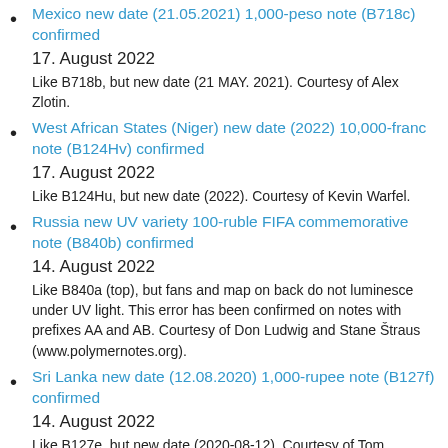Mexico new date (21.05.2021) 1,000-peso note (B718c) confirmed
17. August 2022
Like B718b, but new date (21 MAY. 2021). Courtesy of Alex Zlotin.
West African States (Niger) new date (2022) 10,000-franc note (B124Hv) confirmed
17. August 2022
Like B124Hu, but new date (2022). Courtesy of Kevin Warfel.
Russia new UV variety 100-ruble FIFA commemorative note (B840b) confirmed
14. August 2022
Like B840a (top), but fans and map on back do not luminesce under UV light. This error has been confirmed on notes with prefixes AA and AB. Courtesy of Don Ludwig and Stane Štraus (www.polymernotes.org).
Sri Lanka new date (12.08.2020) 1,000-rupee note (B127f) confirmed
14. August 2022
Like B127e, but new date (2020-08-12). Courtesy of Tom Milholland
Pakistan new 75-rupee commemorative note (B240a) reported for introduction on 30.09.2022